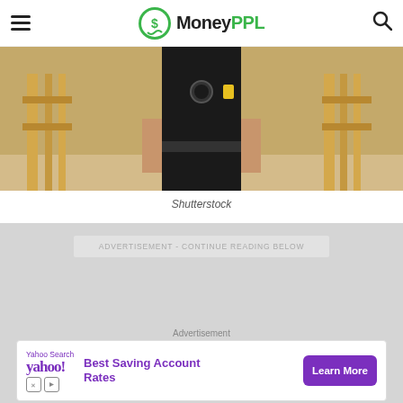MoneyPPL
[Figure (photo): Security guard in black uniform standing near wooden gate/fence, cropped at chest level]
Shutterstock
ADVERTISEMENT - CONTINUE READING BELOW
Advertisement
[Figure (screenshot): Yahoo Search advertisement banner: Best Saving Account Rates with Learn More button]